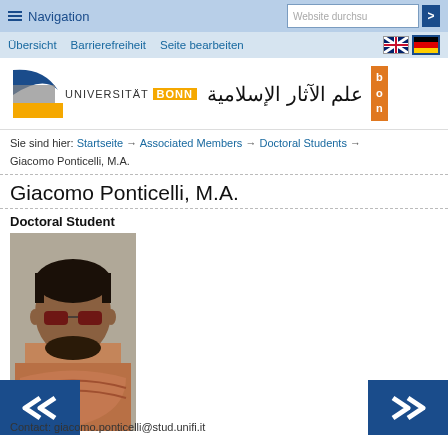Navigation | Website durchsuchen
Übersicht  Barrierefreiheit  Seite bearbeiten
[Figure (logo): Universität Bonn logo with Arabic text for Islamic Archaeology]
Sie sind hier: Startseite → Associated Members → Doctoral Students → Giacomo Ponticelli, M.A.
Giacomo Ponticelli, M.A.
Doctoral Student
[Figure (photo): Portrait photo of Giacomo Ponticelli wearing sunglasses and a scarf, outdoors]
Contact: giacomo.ponticelli@stud.unifi.it